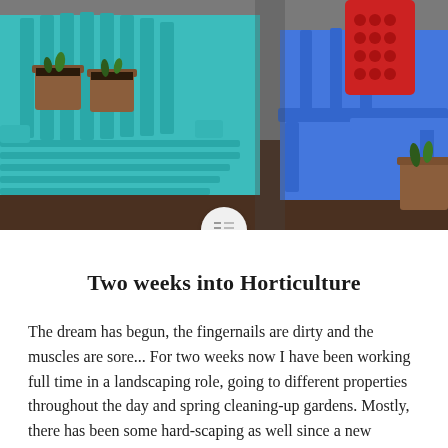[Figure (photo): Outdoor garden scene showing a teal/turquoise Adirondack chair with two small terracotta pots containing seedlings on the left, and a bright blue plastic stool/table on the right with a red textured vase/pot on top and a small plant in a terracotta pot at bottom right. The ground is covered in dark mulch. A circular menu button icon is overlaid at the bottom center of the image.]
Two weeks into Horticulture
The dream has begun, the fingernails are dirty and the muscles are sore... For two weeks now I have been working full time in a landscaping role, going to different properties throughout the day and spring cleaning-up gardens. Mostly, there has been some hard-scaping as well since a new vineyard is opening nearby